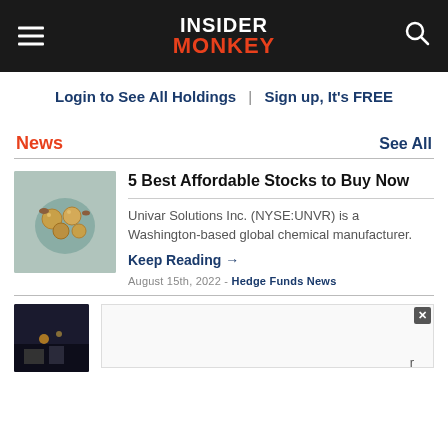INSIDER MONKEY
Login to See All Holdings | Sign up, It's FREE
News
See All
[Figure (photo): Thumbnail image of coins and spices]
5 Best Affordable Stocks to Buy Now
Univar Solutions Inc. (NYSE:UNVR) is a Washington-based global chemical manufacturer.
Keep Reading →
August 15th, 2022 - Hedge Funds News
[Figure (photo): Dark thumbnail image at bottom, partially visible]